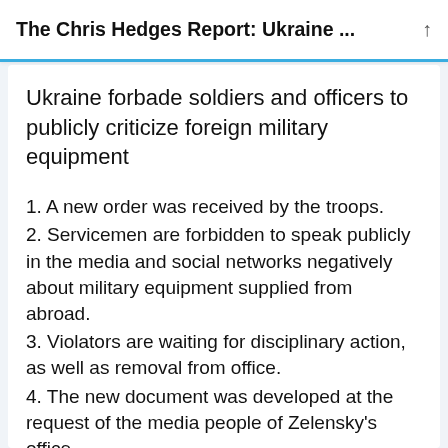The Chris Hedges Report: Ukraine ...
Ukraine forbade soldiers and officers to publicly criticize foreign military equipment
1. A new order was received by the troops.
2. Servicemen are forbidden to speak publicly in the media and social networks negatively about military equipment supplied from abroad.
3. Violators are waiting for disciplinary action, as well as removal from office.
4. The new document was developed at the request of the media people of Zelensky's office.